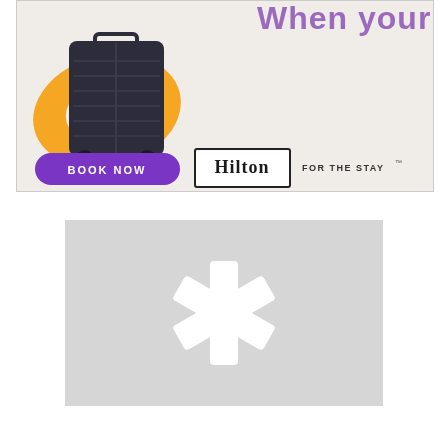[Figure (illustration): Hilton hotel advertisement banner showing a dark spinner suitcase with an orange inflatable ring/floaty, text 'When your' in purple at top right, a purple 'BOOK NOW' button at bottom left, and the Hilton logo with text 'FOR THE STAY' at bottom right. Background is light beige/cream.]
[Figure (logo): Placeholder image with light gray background showing a white asterisk/snowflake-like star shape in the center.]